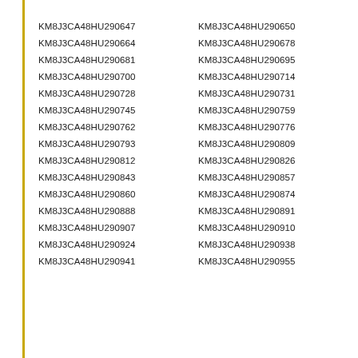KM8J3CA48HU290647    KM8J3CA48HU290650
KM8J3CA48HU290664    KM8J3CA48HU290678
KM8J3CA48HU290681    KM8J3CA48HU290695
KM8J3CA48HU290700    KM8J3CA48HU290714
KM8J3CA48HU290728    KM8J3CA48HU290731
KM8J3CA48HU290745    KM8J3CA48HU290759
KM8J3CA48HU290762    KM8J3CA48HU290776
KM8J3CA48HU290793    KM8J3CA48HU290809
KM8J3CA48HU290812    KM8J3CA48HU290826
KM8J3CA48HU290843    KM8J3CA48HU290857
KM8J3CA48HU290860    KM8J3CA48HU290874
KM8J3CA48HU290888    KM8J3CA48HU290891
KM8J3CA48HU290907    KM8J3CA48HU290910
KM8J3CA48HU290924    KM8J3CA48HU290938
KM8J3CA48HU290941    KM8J3CA48HU290955